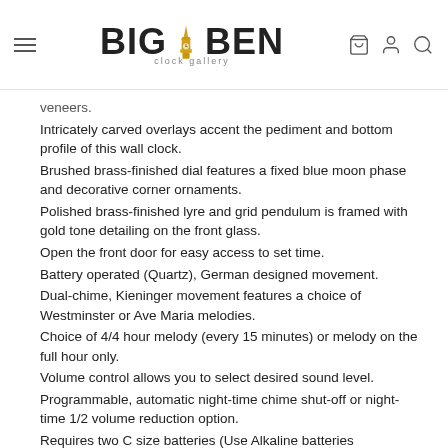BIGBEN clock gallery
veneers.
Intricately carved overlays accent the pediment and bottom profile of this wall clock.
Brushed brass-finished dial features a fixed blue moon phase and decorative corner ornaments.
Polished brass-finished lyre and grid pendulum is framed with gold tone detailing on the front glass.
Open the front door for easy access to set time.
Battery operated (Quartz), German designed movement.
Dual-chime, Kieninger movement features a choice of Westminster or Ave Maria melodies.
Choice of 4/4 hour melody (every 15 minutes) or melody on the full hour only.
Volume control allows you to select desired sound level.
Programmable, automatic night-time chime shut-off or night-time 1/2 volume reduction option.
Requires two C size batteries (Use Alkaline batteries